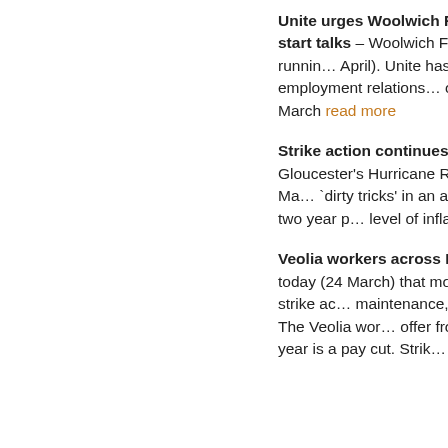Unite urges Woolwich Ferry – seize opportunity to resolve dispute and start talks – Woolwich Ferry's workers have suspended the strike ballot in a goodwill gesture to resolve the long-running dispute (started April). Unite has put forward proposals, which remain confidential, to start meaningful talks over the poor employment relations and management of the troubled ferry. Six workers, including two Unite reps, had their industrial action ended on 28 March read more
Strike action continues as GE Aviation accused of 'dirty tricks' – Gloucester's Hurricane Road GE Aviation factory will be struck again unless honoured, Unite the union has said today (Tuesday 29 May). GE is using 'dirty tricks' in an attempt to undermine the workers. The 9... Dowty Propellers. The workers have rejected a two year pay deal below the level of inflation (retail price index) standing at 8.2 per cent...
Veolia workers across Edinburgh and Lothians set to s... today (24 March) that more than 50 members working for Veolia are set to take strike action in a dispute over pay. The strike ac... maintenance, mechanical, and administrative staff, was su... members in a ballot turnout of 83 per cent. The Veolia wor... offer from the company. With the more realistic cost of livi... Veolia's offer of 2.6 per cent for this year is a pay cut. Strik...